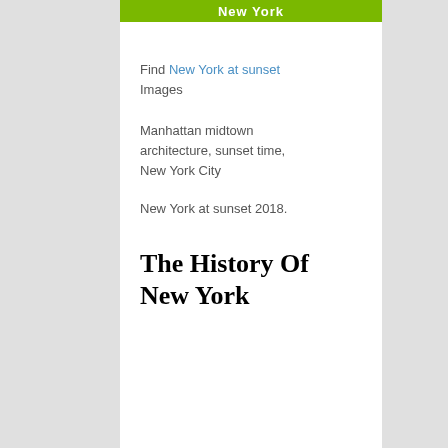New York
Find New York at sunset Images
Manhattan midtown architecture, sunset time, New York City
New York at sunset 2018.
The History Of New York